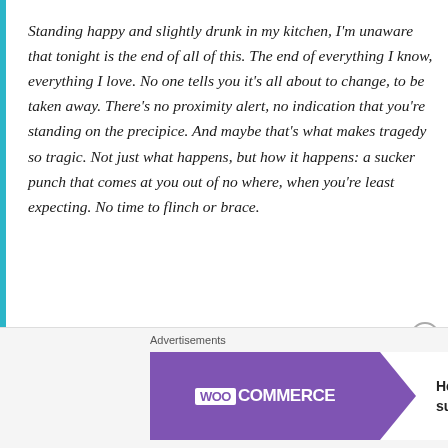Standing happy and slightly drunk in my kitchen, I'm unaware that tonight is the end of all of this. The end of everything I know, everything I love. No one tells you it's all about to change, to be taken away. There's no proximity alert, no indication that you're standing on the precipice. And maybe that's what makes tragedy so tragic. Not just what happens, but how it happens: a sucker punch that comes at you out of no where, when you're least expecting. No time to flinch or brace.
Jason has his world turned upside-down when he is
[Figure (other): WooCommerce advertisement banner: purple background with WooCommerce logo and arrow, teal arrow graphic, text 'How to start selling subscriptions online', decorative orange and teal leaf shapes on the right]